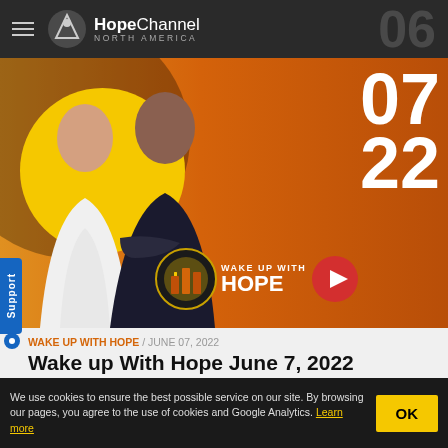Hope Channel North America
[Figure (photo): Banner image showing two people (woman in white top, man in dark shirt with arms crossed) against an orange background with date numbers 07 and 22, and a Wake Up With Hope logo with play button.]
WAKE UP WITH HOPE / JUNE 07, 2022
Wake up With Hope June 7, 2022
Wake up With Hope will surely change your day! Today we will have Hope Channel news with Kenia Reyes, health tips, our friend Elizabeth Talbot will share an encouraging message, and more. Don't miss it!
We use cookies to ensure the best possible service on our site. By browsing our pages, you agree to the use of cookies and Google Analytics. Learn more